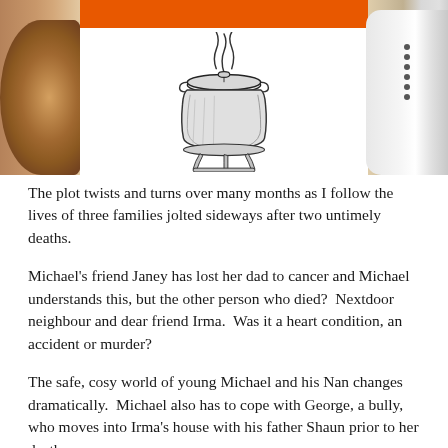[Figure (photo): Photo of a book or box with an orange strip at the top, a white card area featuring a hand-drawn illustration of a steaming cooking pot, flanked by wooden utensils on the left and a ceramic shaker on the right.]
The plot twists and turns over many months as I follow the lives of three families jolted sideways after two untimely deaths.
Michael's friend Janey has lost her dad to cancer and Michael understands this, but the other person who died?  Nextdoor neighbour and dear friend Irma.  Was it a heart condition, an accident or murder?
The safe, cosy world of young Michael and his Nan changes dramatically.  Michael also has to cope with George, a bully, who moves into Irma's house with his father Shaun prior to her death.